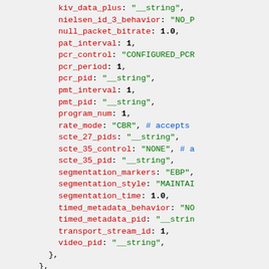Code block showing configuration properties: kiv_data_plus: __string, nielsen_id_3_behavior: NO_P..., null_packet_bitrate: 1.0, pat_interval: 1, pcr_control: CONFIGURED_PCR..., pcr_period: 1, pcr_pid: __string, pmt_interval: 1, pmt_pid: __string, program_num: 1, rate_mode: CBR # accepts..., scte_27_pids: __string, scte_35_control: NONE # a..., scte_35_pid: __string, segmentation_markers: EBP..., segmentation_style: MAINTAI..., segmentation_time: 1.0, timed_metadata_behavior: NO..., timed_metadata_pid: __strin..., transport_stream_id: 1, video_pid: __string, }, }, destination: { # required, destination_ref_id: __string, },